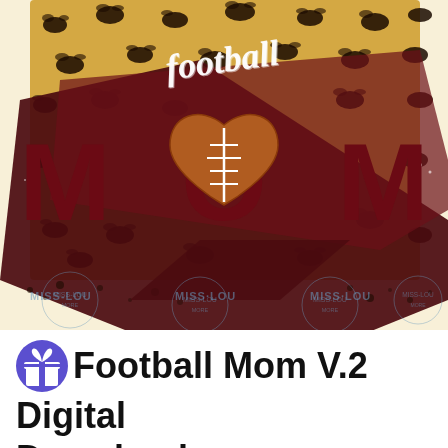[Figure (illustration): Football Mom V.2 digital clipart design featuring leopard print background with dark maroon brushstroke, large 'MOM' text in maroon where the O is replaced by a football-shaped heart, and cursive 'football' text at the top. Watermark 'MISS-LOU' repeated across the image.]
Football Mom V.2 Digital Download